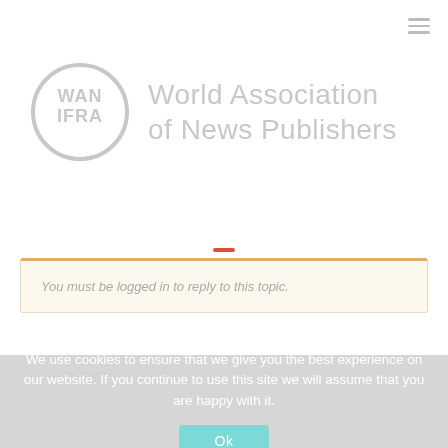[Figure (logo): WAN-IFRA circular logo with text 'World Association of News Publishers' in grey]
You must be logged in to reply to this topic.
Username:
We use cookies to ensure that we give you the best experience on our website. If you continue to use this site we will assume that you are happy with it.